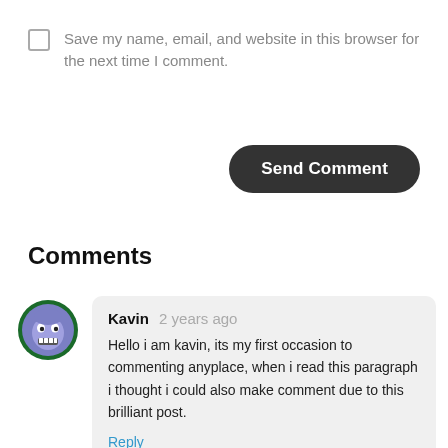Save my name, email, and website in this browser for the next time I comment.
Send Comment
Comments
Kavin 2 years ago
Hello i am kavin, its my first occasion to commenting anyplace, when i read this paragraph i thought i could also make comment due to this brilliant post.
Reply